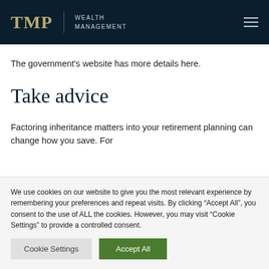TMP | WEALTH MANAGEMENT
The government's website has more details here.
Take advice
Factoring inheritance matters into your retirement planning can change how you save. For
We use cookies on our website to give you the most relevant experience by remembering your preferences and repeat visits. By clicking “Accept All”, you consent to the use of ALL the cookies. However, you may visit “Cookie Settings” to provide a controlled consent.
Cookie Settings | Accept All